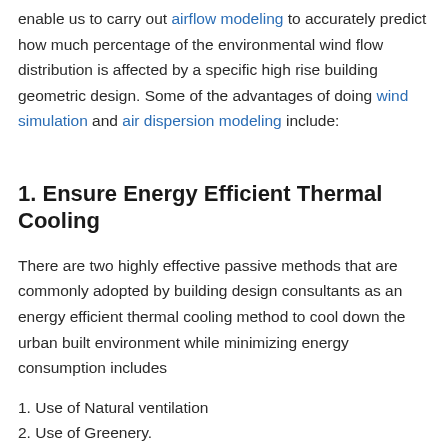enable us to carry out airflow modeling to accurately predict how much percentage of the environmental wind flow distribution is affected by a specific high rise building geometric design. Some of the advantages of doing wind simulation and air dispersion modeling include:
1. Ensure Energy Efficient Thermal Cooling
There are two highly effective passive methods that are commonly adopted by building design consultants as an energy efficient thermal cooling method to cool down the urban built environment while minimizing energy consumption includes
1. Use of Natural ventilation
2. Use of Greenery.